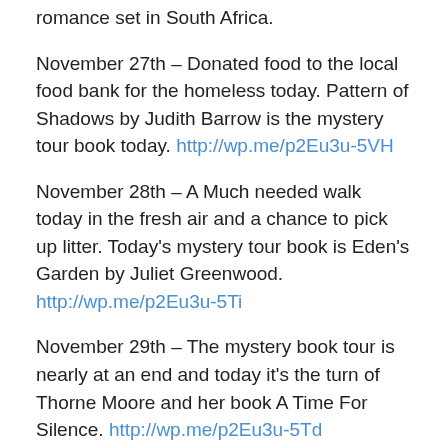romance set in South Africa.
November 27th – Donated food to the local food bank for the homeless today. Pattern of Shadows by Judith Barrow is the mystery tour book today. http://wp.me/p2Eu3u-5VH
November 28th – A Much needed walk today in the fresh air and a chance to pick up litter. Today's mystery tour book is Eden's Garden by Juliet Greenwood. http://wp.me/p2Eu3u-5Ti
November 29th – The mystery book tour is nearly at an end and today it's the turn of Thorne Moore and her book A Time For Silence. http://wp.me/p2Eu3u-5Td
Drafting up the post for the December issues of the magazines I write book reviews for and drafting up the copy for the January issues to send to the editor due to